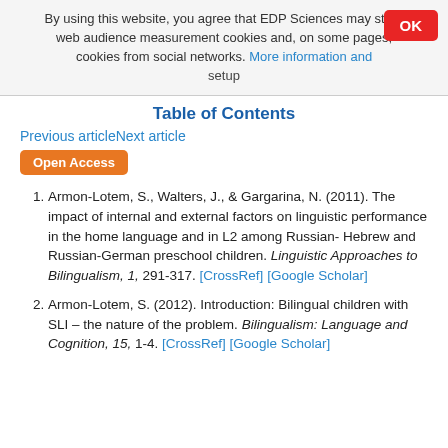By using this website, you agree that EDP Sciences may store web audience measurement cookies and, on some pages, cookies from social networks. More information and setup
Table of Contents
Previous articleNext article
Open Access
Armon-Lotem, S., Walters, J., & Gargarina, N. (2011). The impact of internal and external factors on linguistic performance in the home language and in L2 among Russian- Hebrew and Russian-German preschool children. Linguistic Approaches to Bilingualism, 1, 291-317. [CrossRef] [Google Scholar]
Armon-Lotem, S. (2012). Introduction: Bilingual children with SLI – the nature of the problem. Bilingualism: Language and Cognition, 15, 1-4. [CrossRef] [Google Scholar]